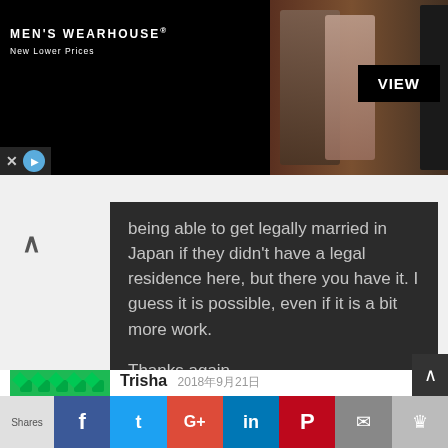[Figure (screenshot): Men's Wearhouse advertisement banner with couple in formalwear and VIEW button]
being able to get legally married in Japan if they didn't have a legal residence here, but there you have it. I guess it is possible, even if it is a bit more work.

Thanks again
– Travis from TranSenz
Reply
Trisha 2018年9月21日
Hi! Me and my fiancé are trying to get married in japan and we want to know where i should change my last name
Shares | f | t | G+ | in | P | email | bookmark